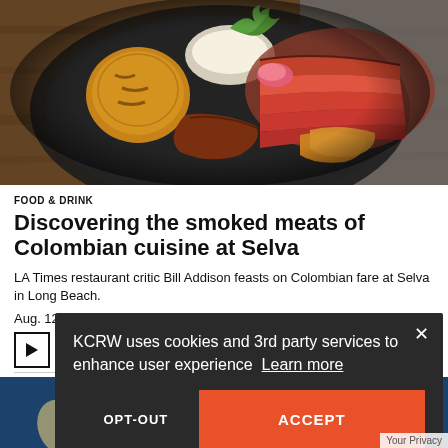[Figure (photo): Overhead view of a Colombian food plate with sliced grilled steak, arepas, rice, chorizo, sweet plantains, pink pickled onions, and greens on a dark round plate, on a wooden surface]
FOOD & DRINK
Discovering the smoked meats of Colombian cuisine at Selva
LA Times restaurant critic Bill Addison feasts on Colombian fare at Selva in Long Beach.
Aug. 12
[Figure (photo): Partial view of a second article photo at the bottom, showing what appears to be a blue background with shells or cocktail imagery]
KCRW uses cookies and 3rd party services to enhance user experience Learn more
OPT-OUT
ACCEPT
Your Privacy